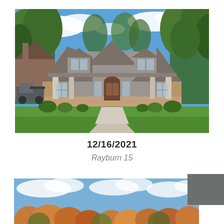[Figure (photo): Exterior photo of a two-story craftsman-style house with gray siding, brick accents, covered front porch with columns, arched front door, green lawn, and concrete driveway, surrounded by trees under blue sky.]
12/16/2021
Rayburn 15
[Figure (photo): Partial bottom photo showing blue sky with clouds and autumn-colored trees, with a gray square overlay in the upper right corner.]